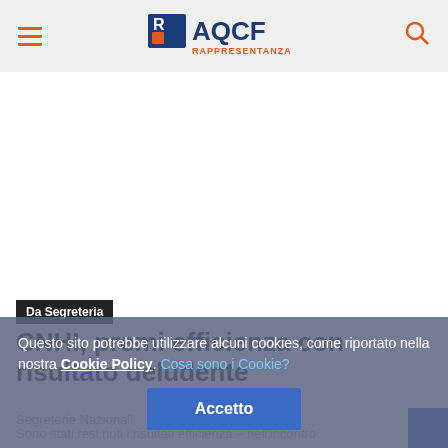AQCF Rappresentanza
[Figure (logo): AQCF Rappresentanza logo with blue and orange colors, hamburger menu icon on left, search icon on right]
Da Segreteria
CNHI, premi efficienza con risultato deludente
Segreterie Nazionali
Sono stati resi noti i risultati efficienza – nell'incontro tenutosi oggi in videoconferenza con cnhi industrial – da pagare a fine febbraio,...
Questo sito potrebbe utilizzare alcuni cookies, come riportato nella nostra Cookie Policy. Cosa sono i Cookie? Accetto